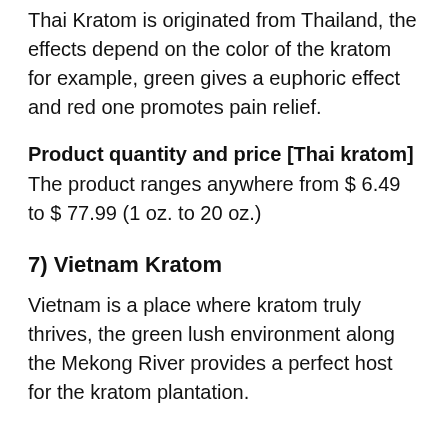Thai Kratom is originated from Thailand, the effects depend on the color of the kratom for example, green gives a euphoric effect and red one promotes pain relief.
Product quantity and price [Thai kratom]
The product ranges anywhere from $ 6.49 to $ 77.99 (1 oz. to 20 oz.)
7) Vietnam Kratom
Vietnam is a place where kratom truly thrives, the green lush environment along the Mekong River provides a perfect host for the kratom plantation.